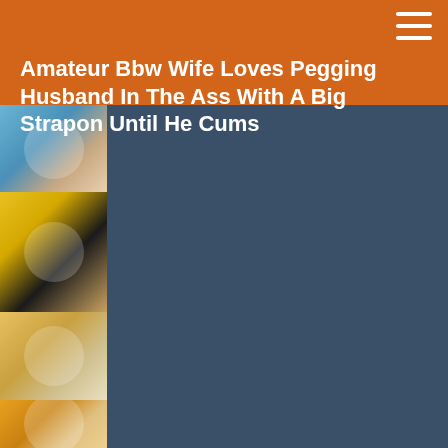Amateur Bbw Wife Loves Pegging Husband In The Ass With A Big Strapon Until He Cums
[Figure (photo): Thumbnail image 1 - top of left column]
[Figure (photo): Thumbnail image 2 - second in left column]
[Figure (photo): Thumbnail image 3 - third in left column]
[Figure (photo): Thumbnail image 4 - fourth in left column]